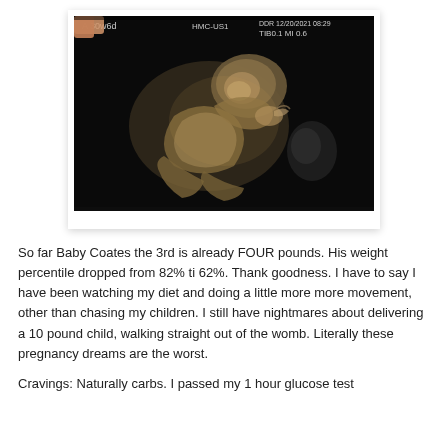[Figure (photo): A 3D ultrasound image held between fingers, showing a fetus in profile. The ultrasound display reads 'A 30w6d', 'HMC-US1', 'DDR 12/20/2021 08:29', 'TIB0.1 MI 0.6'. The image is dark with sepia/grayscale tones showing fetal features.]
So far Baby Coates the 3rd is already FOUR pounds. His weight percentile dropped from 82% ti 62%. Thank goodness. I have to say I have been watching my diet and doing a little more more movement, other than chasing my children. I still have nightmares about delivering a 10 pound child, walking straight out of the womb. Literally these pregnancy dreams are the worst.
Cravings: Naturally carbs. I passed my 1 hour glucose test